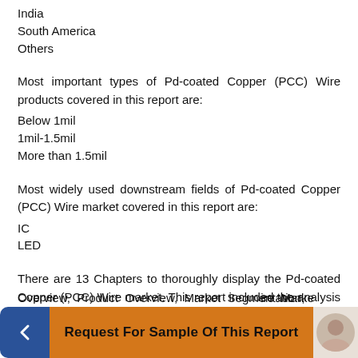India
South America
Others
Most important types of Pd-coated Copper (PCC) Wire products covered in this report are:
Below 1mil
1mil-1.5mil
More than 1.5mil
Most widely used downstream fields of Pd-coated Copper (PCC) Wire market covered in this report are:
IC
LED
There are 13 Chapters to thoroughly display the Pd-coated Copper (PCC) Wire market. This report included the analysis of market overview, market characteristics, industry chain, competition landscape, historical and future data by types, applications and regions.
Overview, Product Overview, Market Segmentation,